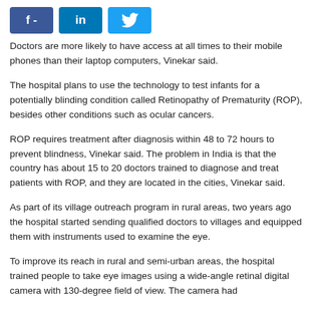[Figure (other): Social media sharing buttons: Facebook (f -), LinkedIn (in), Twitter (bird icon)]
Doctors are more likely to have access at all times to their mobile phones than their laptop computers, Vinekar said.
The hospital plans to use the technology to test infants for a potentially blinding condition called Retinopathy of Prematurity (ROP), besides other conditions such as ocular cancers.
ROP requires treatment after diagnosis within 48 to 72 hours to prevent blindness, Vinekar said. The problem in India is that the country has about 15 to 20 doctors trained to diagnose and treat patients with ROP, and they are located in the cities, Vinekar said.
As part of its village outreach program in rural areas, two years ago the hospital started sending qualified doctors to villages and equipped them with instruments used to examine the eye.
To improve its reach in rural and semi-urban areas, the hospital trained people to take eye images using a wide-angle retinal digital camera with 130-degree field of view. The camera had ...